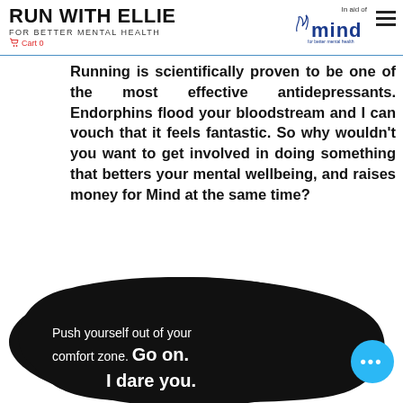RUN WITH ELLIE
FOR BETTER MENTAL HEALTH
Cart 0
In aid of mind for better mental health
Running is scientifically proven to be one of the most effective antidepressants. Endorphins flood your bloodstream and I can vouch that it feels fantastic. So why wouldn't you want to get involved in doing something that betters your mental wellbeing, and raises money for Mind at the same time?
Push yourself out of your comfort zone. Go on. I dare you.